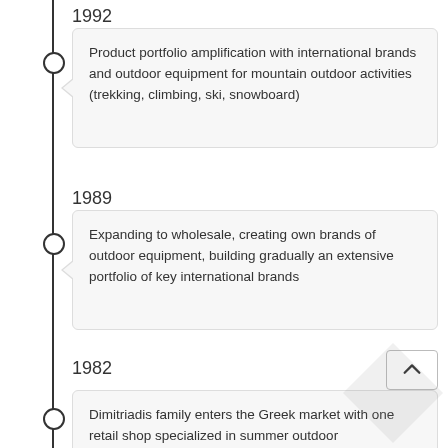1992
Product portfolio amplification with international brands and outdoor equipment for mountain outdoor activities (trekking, climbing, ski, snowboard)
1989
Expanding to wholesale, creating own brands of outdoor equipment, building gradually an extensive portfolio of key international brands
1982
Dimitriadis family enters the Greek market with one retail shop specialized in summer outdoor